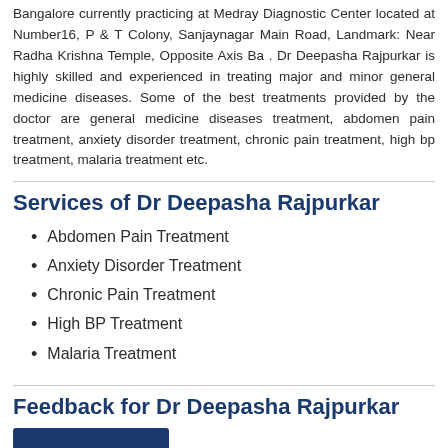Bangalore currently practicing at Medray Diagnostic Center located at Number16, P & T Colony, Sanjaynagar Main Road, Landmark: Near Radha Krishna Temple, Opposite Axis Ba . Dr Deepasha Rajpurkar is highly skilled and experienced in treating major and minor general medicine diseases. Some of the best treatments provided by the doctor are general medicine diseases treatment, abdomen pain treatment, anxiety disorder treatment, chronic pain treatment, high bp treatment, malaria treatment etc.
Services of Dr Deepasha Rajpurkar
Abdomen Pain Treatment
Anxiety Disorder Treatment
Chronic Pain Treatment
High BP Treatment
Malaria Treatment
Feedback for Dr Deepasha Rajpurkar